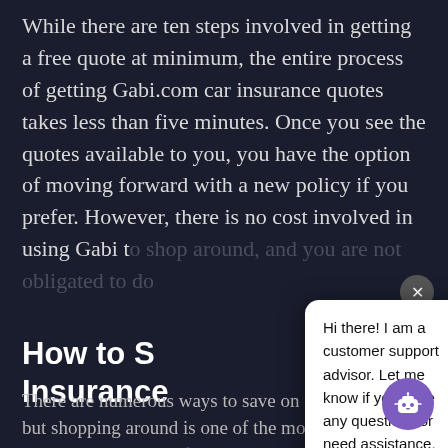While there are ten steps involved in getting a free quote at minimum, the entire process of getting Gabi.com car insurance quotes takes less than five minutes. Once you see the quotes available to you, you have the option of moving forward with a new policy if you prefer. However, there is no cost involved in using Gabi to shop around, and you are not obligated to do...
[Figure (screenshot): Chat support popup overlay with close X button (dark circle, top right), white rounded rectangle chat bubble containing text 'Hi there! I am a customer support advisor. Let me know if you have any questions or need assistance, ok?', and purple circular robot/chat icon button at bottom right.]
How to S... Insurance...
There are numerous ways to save on car insurance, but shopping around is one of the most important steps you can take. After all, you can't possibly know...